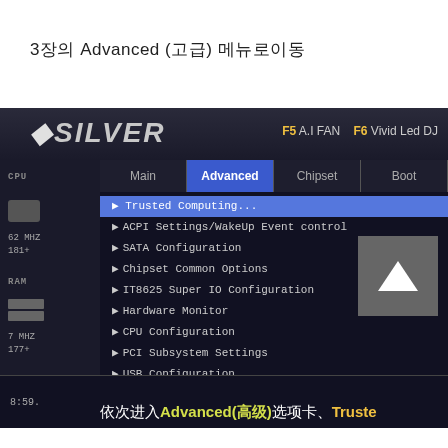3장의 Advanced (고급) 메뉴로이동
[Figure (screenshot): BIOS UEFI screenshot showing the Advanced tab selected in a Silver motherboard BIOS. The menu lists: Trusted Computing (highlighted), ACPI Settings/WakeUp Event control, SATA Configuration, Chipset Common Options, IT8625 Super IO Configuration, Hardware Monitor, CPU Configuration, PCI Subsystem Settings, USB Configuration, Network Stack Configuration, CSM Configuration, NVMe Configuration, Offboard PCIe SATA Controller, AMD CBS, AMD Overclocking. A grey scroll-up arrow box is visible. Bottom text reads: 依次进入Advanced(高级)选项卡、Truste]